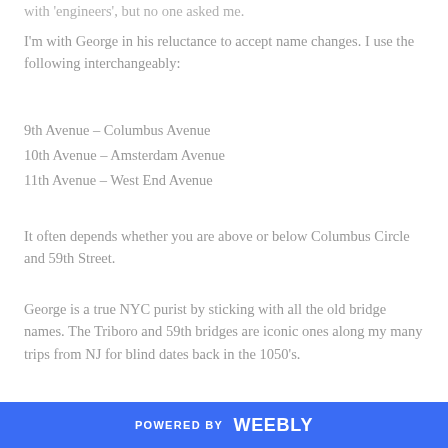with 'engineers', but no one asked me.
I'm with George in his reluctance to accept name changes. I use the following interchangeably:
9th Avenue – Columbus Avenue
10th Avenue – Amsterdam Avenue
11th Avenue – West End Avenue
It often depends whether you are above or below Columbus Circle and 59th Street.
George is a true NYC purist by sticking with all the old bridge names. The Triboro and 59th bridges are iconic ones along my many trips from NJ for blind dates back in the 1050's.
POWERED BY weebly